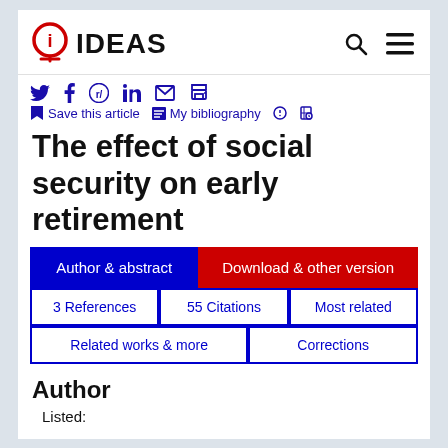[Figure (logo): IDEAS logo with lightbulb icon and text IDEAS]
Save this article  My bibliography
The effect of social security on early retirement
Author & abstract
Download & other version
3 References
55 Citations
Most related
Related works & more
Corrections
Author
Listed: